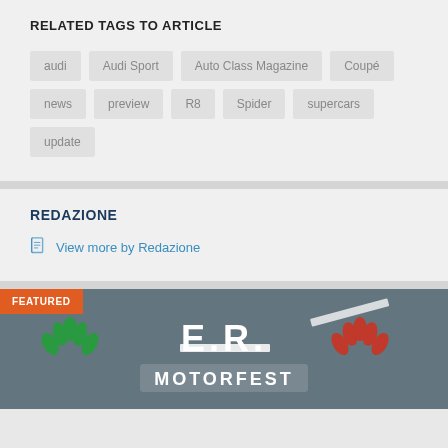RELATED TAGS TO ARTICLE
audi
Audi Sport
Auto Class Magazine
Coupé
news
preview
R8
Spider
supercars
update
REDAZIONE
View more by Redazione
[Figure (photo): E.R. Motorfest event logo on asphalt background with FEATURED label]